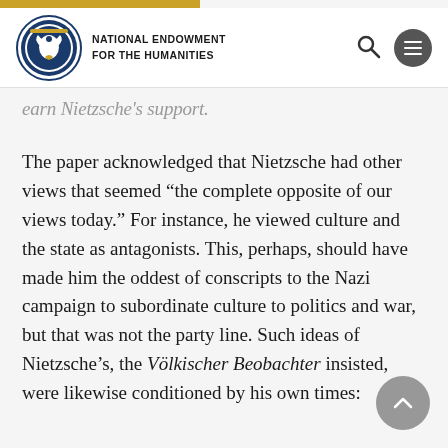NATIONAL ENDOWMENT FOR THE HUMANITIES
earn Nietzsche's support.
The paper acknowledged that Nietzsche had other views that seemed “the complete opposite of our views today.” For instance, he viewed culture and the state as antagonists. This, perhaps, should have made him the oddest of conscripts to the Nazi campaign to subordinate culture to politics and war, but that was not the party line. Such ideas of Nietzsche’s, the Völkischer Beobachter insisted, were likewise conditioned by his own times: